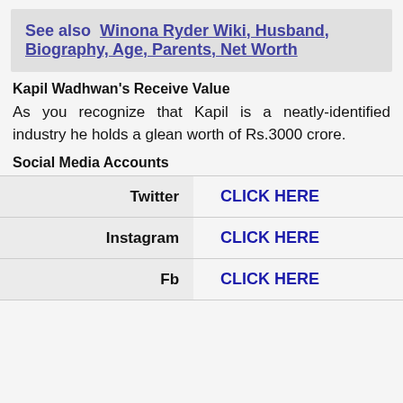See also  Winona Ryder Wiki, Husband, Biography, Age, Parents, Net Worth
Kapil Wadhwan's Receive Value
As you recognize that Kapil is a neatly-identified industry he holds a glean worth of Rs.3000 crore.
Social Media Accounts
|  |  |
| --- | --- |
| Twitter | CLICK HERE |
| Instagram | CLICK HERE |
| Fb | CLICK HERE |